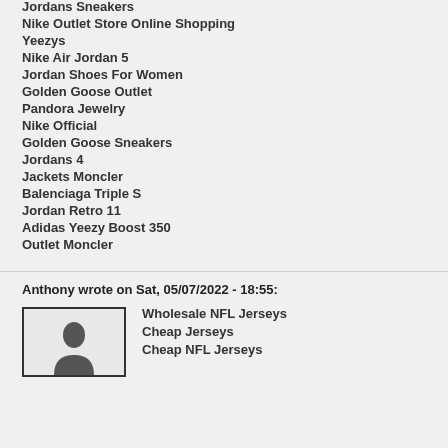Jordans Sneakers
Nike Outlet Store Online Shopping
Yeezys
Nike Air Jordan 5
Jordan Shoes For Women
Golden Goose Outlet
Pandora Jewelry
Nike Official
Golden Goose Sneakers
Jordans 4
Jackets Moncler
Balenciaga Triple S
Jordan Retro 11
Adidas Yeezy Boost 350
Outlet Moncler
Anthony wrote on Sat, 05/07/2022 - 18:55:
[Figure (photo): User avatar silhouette in a bordered box]
Wholesale NFL Jerseys
Cheap Jerseys
Cheap NFL Jerseys